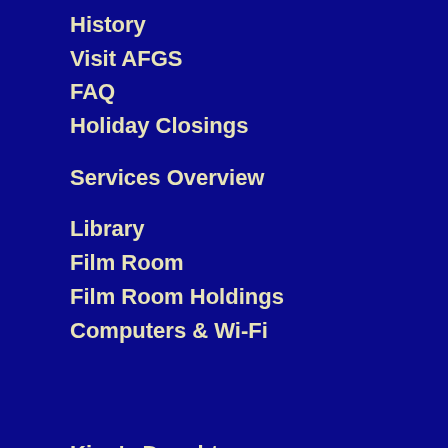History
Visit AFGS
FAQ
Holiday Closings
Services Overview
Library
Film Room
Film Room Holdings
Computers & Wi-Fi
King's Daughters
Marrigeable Girls
Les Filles à Marier
Databases
Surname Variations
Rhode Island Cemeteries